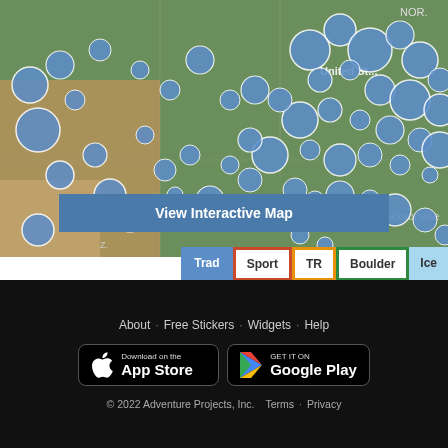[Figure (map): Interactive map of the United States showing climbing route locations as blue circles of varying sizes clustered across the country]
View Interactive Map
Trad  Sport  TR  Boulder  Ice
About · Free Stickers · Widgets · Help
[Figure (logo): Download on the App Store button]
[Figure (logo): Get it on Google Play button]
© 2022 Adventure Projects, Inc.  Terms · Privacy